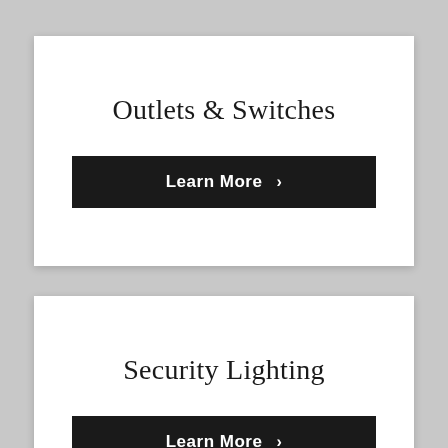Outlets & Switches
Learn More ›
Security Lighting
Learn More ›